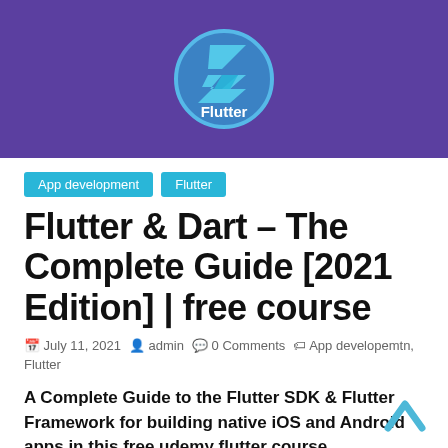[Figure (illustration): Flutter logo badge (stylized 'F' icon in light blue on a blue circle with cyan border) on a purple background, with the text 'Flutter' in white below the icon]
App development   Flutter
Flutter & Dart – The Complete Guide [2021 Edition] | free course
July 11, 2021   admin   0 Comments   App developemtn, Flutter
A Complete Guide to the Flutter SDK & Flutter Framework for building native iOS and Android apps in this free udemy flutter course.